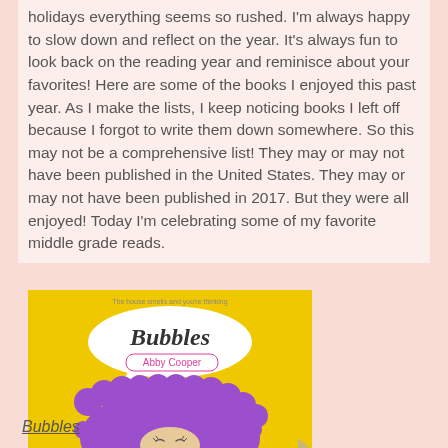holidays everything seems so rushed.  I'm always happy to slow down and reflect on the year.  It's always fun to look back on the reading year and reminisce about your favorites!  Here are some of the books I enjoyed this past year.  As I make the lists, I keep noticing books I left off because I forgot to write them down somewhere.  So this may not be a comprehensive list!  They may or may not have been published in the United States.  They may or may not have been published in 2017.  But they were all enjoyed!  Today I'm celebrating some of my favorite middle grade reads.
[Figure (illustration): Book cover for 'Bubbles' by Abby Cooper. Yellow background with a white speech bubble containing cursive 'Bubbles' text and author name in pink, and a large purple afro-haired girl illustration at the bottom.]
Bubbles